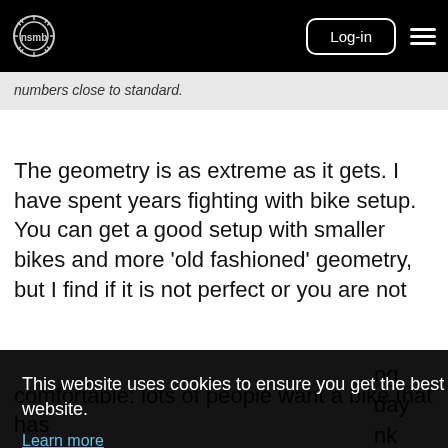nsmb Log-in
numbers close to standard.
The geometry is as extreme as it gets. I have spent years fighting with bike setup. You can get a good setup with smaller bikes and more 'old fashioned' geometry, but I find if it is not perfect or you are not
This website uses cookies to ensure you get the best experience on our website. Learn more Got it!
comfortable: lots of people want a bike that has